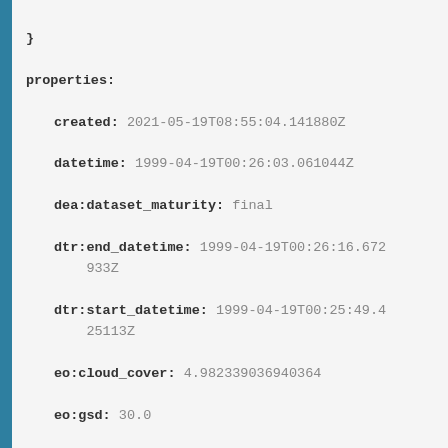properties:
  created: 2021-05-19T08:55:04.141880Z
  datetime: 1999-04-19T00:26:03.061044Z
  dea:dataset_maturity: final
  dtr:end_datetime: 1999-04-19T00:26:16.672933Z
  dtr:start_datetime: 1999-04-19T00:25:49.425113Z
  eo:cloud_cover: 4.982339036940364
  eo:gsd: 30.0
  eo:instrument: TM
  eo:platform: landsat-5
  eo:sun_azimuth: 52.91447212
  eo:sun_elevation: 45.58186734
  fmask:clear: 72.5732851049931
  fmask:cloud: 4.982339036940364
  fmask:cloud_shadow: 2.2273614908468207
  fmask:snow: 7.8982862903942386-06
  fmask:water: 20.21700646893342